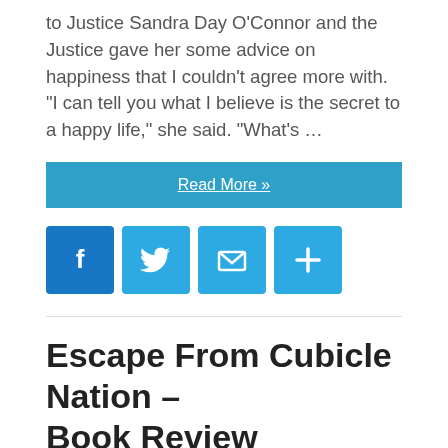to Justice Sandra Day O’Connor and the Justice gave her some advice on happiness that I couldn’t agree more with. “I can tell you what I believe is the secret to a happy life,” she said. “What’s …
Read More »
[Figure (infographic): Social share buttons: Facebook, Twitter, Email, and a plus/share button]
Escape From Cubicle Nation – Book Review
You probably look at cubicle walls and wonder, who the hell designed these ugly monstrosities? But that’s not even the point. Why would any company put their valued